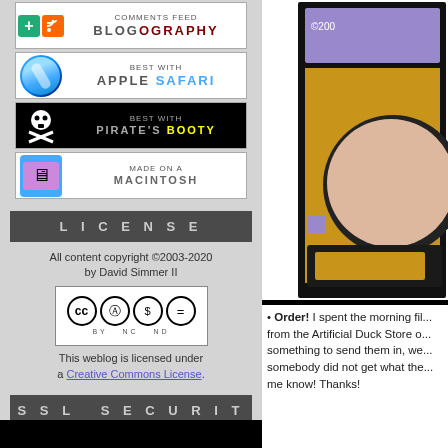[Figure (illustration): Comments Feed BLOGOGRAPHY badge with green plus icon and RSS orange icon]
[Figure (illustration): Best with Apple Safari badge with Safari browser icon]
[Figure (illustration): Best with Pirate's Booty badge with skull and crossbones icon]
[Figure (illustration): Made on a Macintosh badge with Mac OS X finder icon]
LICENSE
All content copyright ©2003-2020 by David Simmer II
[Figure (logo): Creative Commons BY NC ND license badge]
This weblog is licensed under a Creative Commons License.
SSL SECURITY
Let's Encrypt SSL
[Figure (illustration): Partial view of a cartoon/comic illustration with brown background, circle shape and purple rectangle]
Order! I spent the morning fil... from the Artificial Duck Store o... something to send them in, we... somebody did not get what the... me know! Thanks!